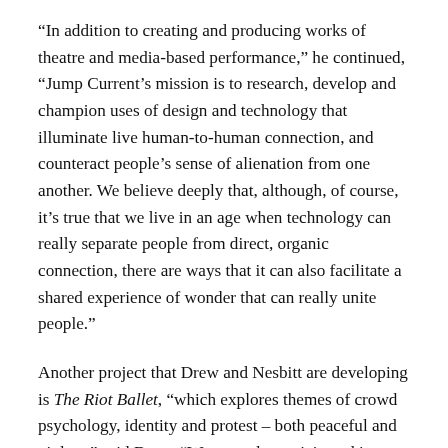“In addition to creating and producing works of theatre and media-based performance,” he continued, “Jump Current’s mission is to research, develop and champion uses of design and technology that illuminate live human-to-human connection, and counteract people’s sense of alienation from one another. We believe deeply that, although, of course, it’s true that we live in an age when technology can really separate people from direct, organic connection, there are ways that it can also facilitate a shared experience of wonder that can really unite people.”
Another project that Drew and Nesbitt are developing is The Riot Ballet, “which explores themes of crowd psychology, identity and protest – both peaceful and violent,” said Drew. “We recently participated in a two-week development process in [cut off]